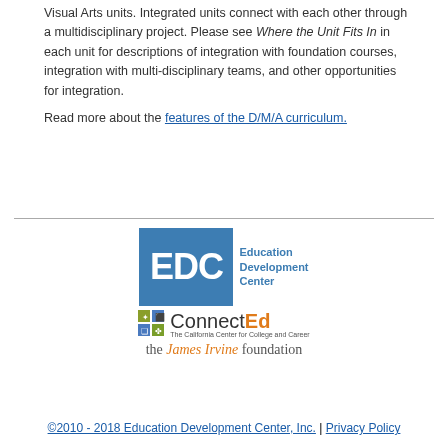Visual Arts units. Integrated units connect with each other through a multidisciplinary project. Please see Where the Unit Fits In in each unit for descriptions of integration with foundation courses, integration with multi-disciplinary teams, and other opportunities for integration.

Read more about the features of the D/M/A curriculum.
[Figure (logo): EDC (Education Development Center) logo with blue square containing white EDC letters, followed by ConnectEd (The California Center for College and Career) logo, and the James Irvine Foundation logo]
©2010 - 2018 Education Development Center, Inc. | Privacy Policy